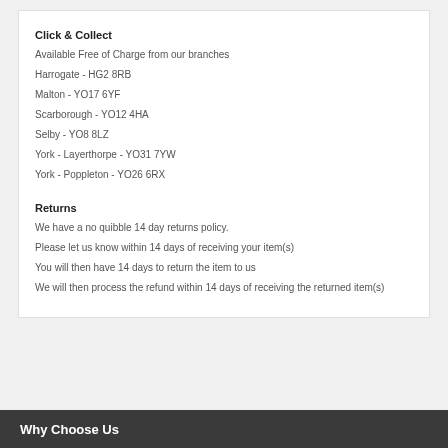Click & Collect
Available Free of Charge from our branches
Harrogate - HG2 8RB
Malton - YO17 6YF
Scarborough - YO12 4HA
Selby - YO8 8LZ
York - Layerthorpe - YO31 7YW
York - Poppleton - YO26 6RX
Returns
We have a no quibble 14 day returns policy.
Please let us know within 14 days of receiving your item(s)
You will then have 14 days to return the item to us
We will then process the refund within 14 days of receiving the returned item(s)
Why Choose Us